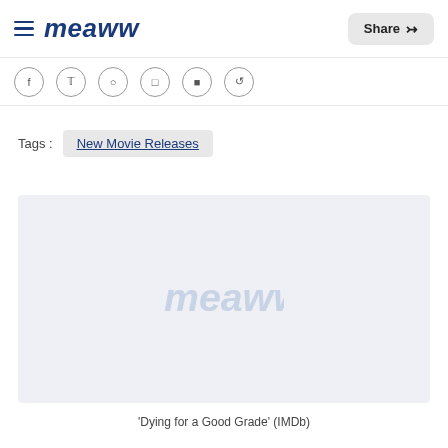Meaww — Share
[Figure (screenshot): Social sharing icons bar with circular icons for Facebook, Twitter, Instagram, WhatsApp, and others]
Tags : New Movie Releases
[Figure (logo): Meaww watermark logo placeholder image in light blue/gray background]
'Dying for a Good Grade' (IMDb)